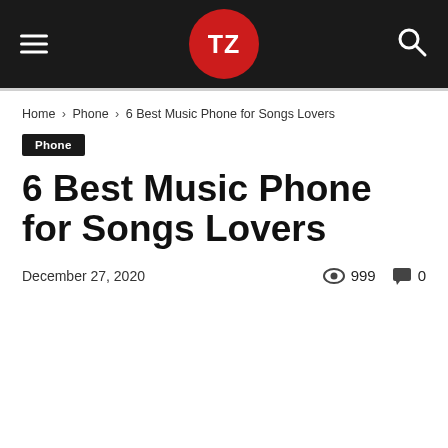TZ (logo) — navigation header with hamburger menu and search icon
Home › Phone › 6 Best Music Phone for Songs Lovers
Phone
6 Best Music Phone for Songs Lovers
December 27, 2020   999   0